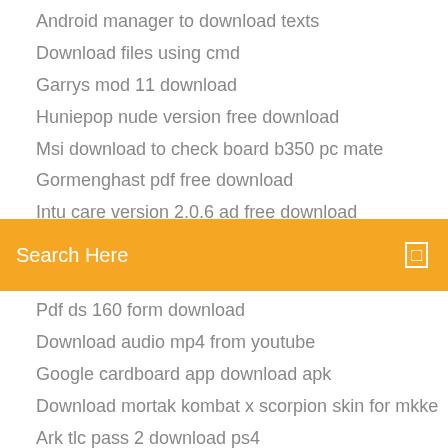Android manager to download texts
Download files using cmd
Garrys mod 11 download
Huniepop nude version free download
Msi download to check board b350 pc mate
Gormenghast pdf free download
Intu care version 2.0.6 ad free download
[Figure (screenshot): Orange/yellow search bar with text 'Search Here' and a small icon on the right]
Pdf ds 160 form download
Download audio mp4 from youtube
Google cardboard app download apk
Download mortak kombat x scorpion skin for mkke
Ark tlc pass 2 download ps4
Writing matters 3rd edition pdf free download
Netflix picture in picture android 8.0 apk download
Skin care books free download
Unifi video app nas download
Choose download format on qobuz app